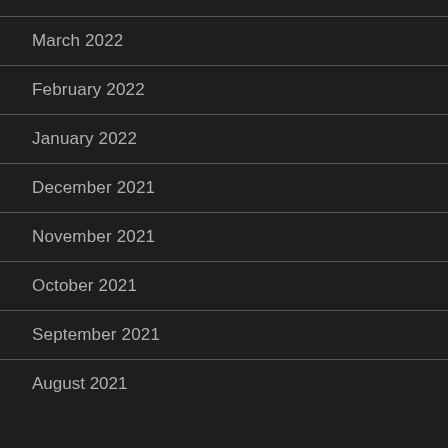March 2022
February 2022
January 2022
December 2021
November 2021
October 2021
September 2021
August 2021